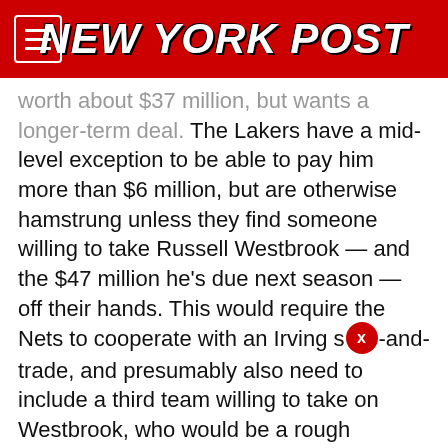NEW YORK POST
worth about $37 million, but wants a longer-term deal. The Lakers have a mid-level exception to be able to pay him more than $6 million, but are otherwise hamstrung unless they find someone willing to take Russell Westbrook — and the $47 million he's due next season — off their hands. This would require the Nets to cooperate with an Irving sign-and-trade, and presumably also need to include a third team willing to take on Westbrook, who would be a rough basketball fit with Ben Simmons given both guards' shooting woes.
Amid this turbulence, Smith shared the intel that Irving has been calling up his ex-teammate, LeBron James.